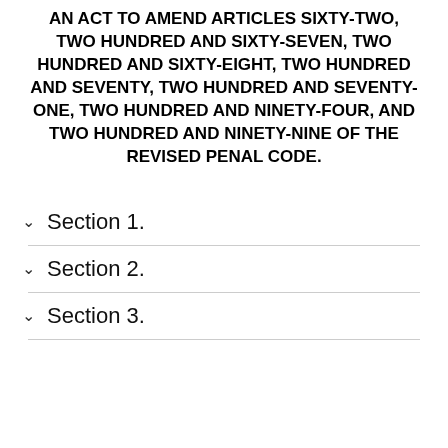AN ACT TO AMEND ARTICLES SIXTY-TWO, TWO HUNDRED AND SIXTY-SEVEN, TWO HUNDRED AND SIXTY-EIGHT, TWO HUNDRED AND SEVENTY, TWO HUNDRED AND SEVENTY-ONE, TWO HUNDRED AND NINETY-FOUR, AND TWO HUNDRED AND NINETY-NINE OF THE REVISED PENAL CODE.
Section 1.
Section 2.
Section 3.